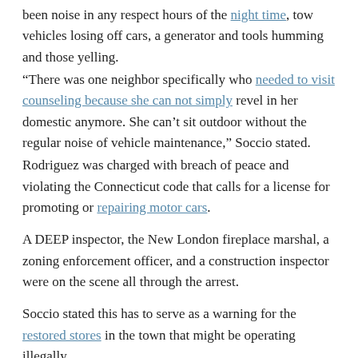been noise in any respect hours of the night time, tow vehicles losing off cars, a generator and tools humming and those yelling.
“There was one neighbor specifically who needed to visit counseling because she can not simply revel in her domestic anymore. She can’t sit outdoor without the regular noise of vehicle maintenance,” Soccio stated.
Rodriguez was charged with breach of peace and violating the Connecticut code that calls for a license for promoting or repairing motor cars.
A DEEP inspector, the New London fireplace marshal, a zoning enforcement officer, and a construction inspector were on the scene all through the arrest.
Soccio stated this has to serve as a warning for the restored stores in the town that might be operating illegally.
“We’re seeking to ship a message to them that they can’t be working like this. They’re annoying the peace in their neighbors and hurting the valid organizations which are right here,” he said.